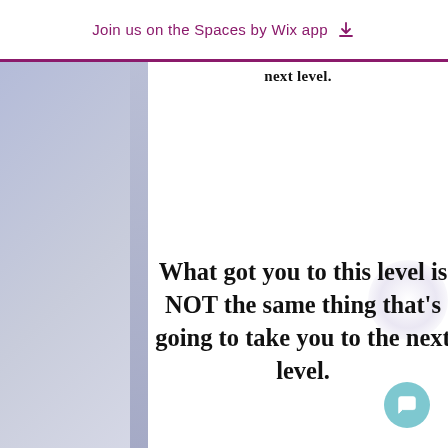Join us on the Spaces by Wix app
next level.
What got you to this level is NOT the same thing that's going to take you to the next level.